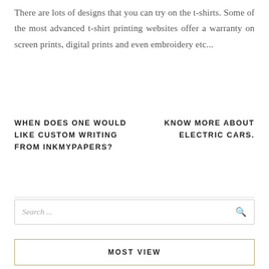There are lots of designs that you can try on the t-shirts. Some of the most advanced t-shirt printing websites offer a warranty on screen prints, digital prints and even embroidery etc...
WHEN DOES ONE WOULD LIKE CUSTOM WRITING FROM INKMYPAPERS?
KNOW MORE ABOUT ELECTRIC CARS.
Search...
MOST VIEW